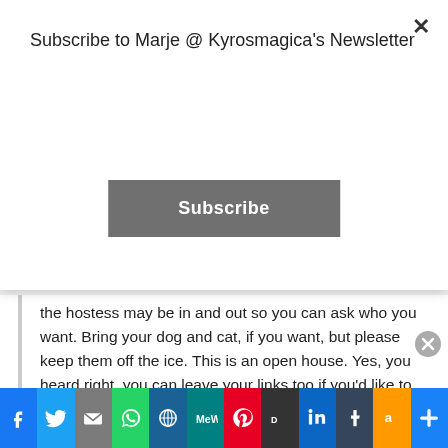Subscribe to Marje @ Kyrosmagica's Newsletter
Subscribe
the hostess may be in and out so you can ask who you want. Bring your dog and cat, if you want, but please keep them off the ice. This is an open house. Yes, you heard right, you can leave your links too if you'd like to. Oh, before I go I better remember to share some posts to get the conversation going. Perhaps this one for future
Advertisements
[Figure (infographic): DuckDuckGo advertisement banner: orange background, phone mockup on right, text 'Search, browse, and email with more privacy.' and 'All in One Free App']
[Figure (infographic): Social sharing bar with icons: Facebook, Twitter, Email, WhatsApp, WordPress, MeWe, Pinterest, DuckDuckGo, LinkedIn, Tumblr, Amazon, AddThis]